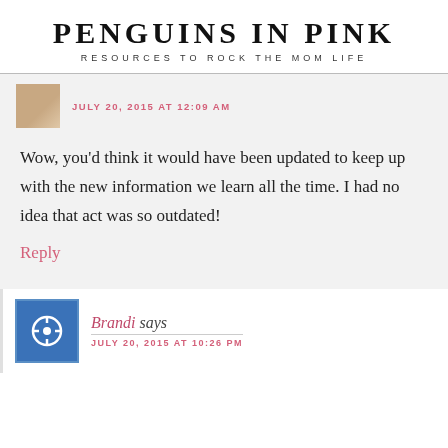PENGUINS IN PINK
RESOURCES TO ROCK THE MOM LIFE
JULY 20, 2015 AT 12:09 AM
Wow, you'd think it would have been updated to keep up with the new information we learn all the time. I had no idea that act was so outdated!
Reply
Brandi says
JULY 20, 2015 AT 10:26 PM